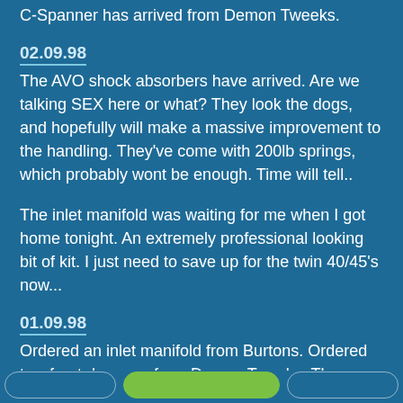C-Spanner has arrived from Demon Tweeks.
02.09.98
The AVO shock absorbers have arrived. Are we talking SEX here or what? They look the dogs, and hopefully will make a massive improvement to the handling. They've come with 200lb springs, which probably wont be enough. Time will tell..
The inlet manifold was waiting for me when I got home tonight. An extremely professional looking bit of kit. I just need to save up for the twin 40/45's now...
01.09.98
Ordered an inlet manifold from Burtons. Ordered two front dampers from Demon Tweeks. The dampers feature 8" x 2.25" springs, with adjustable platforms, are gas filled, and are top adjustable.